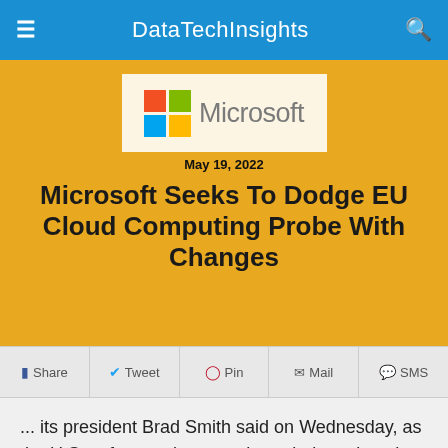DataTechInsights
[Figure (logo): Microsoft logo with colored grid squares and 'Microsoft' text]
May 19, 2022
Microsoft Seeks To Dodge EU Cloud Computing Probe With Changes
Share  Tweet  Pin  Mail  SMS
... its president Brad Smith said on Wednesday, as the U.S. software giant sought to dodge a lengthy EU antitrust probe into its cloud computing business..